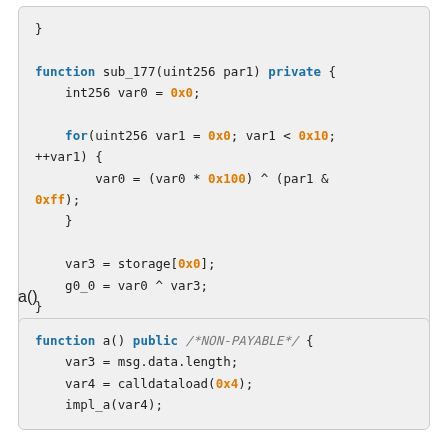code block top: } ... function sub_177(uint256 par1) private { int256 var0 = 0x0; for(uint256 var1 = 0x0; var1 < 0x10; ++var1) { var0 = (var0 * 0x100) ^ (par1 & 0xff); } var3 = storage[0x0]; g0_0 = var0 ^ var3; }
a()
function a() public /*NON-PAYABLE*/ { var3 = msg.data.length; var4 = calldataload(0x4); impl_a(var4);